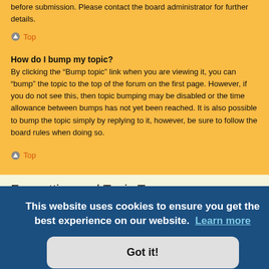before submission. Please contact the board administrator for further details.
Top
How do I bump my topic?
By clicking the “Bump topic” link when you are viewing it, you can “bump” the topic to the top of the forum on the first page. However, if you do not see this, then topic bumping may be disabled or the time allowance between bumps has not yet been reached. It is also possible to bump the topic simply by replying to it, however, be sure to follow the board rules when doing so.
Top
Formatting and Topic Types
What is BBCode?
BBCode is a special implementation of HTML, offering great formatting control
posting
n square
see the
This website uses cookies to ensure you get the best experience on our website. Learn more
Got it!
Can I use HTML?